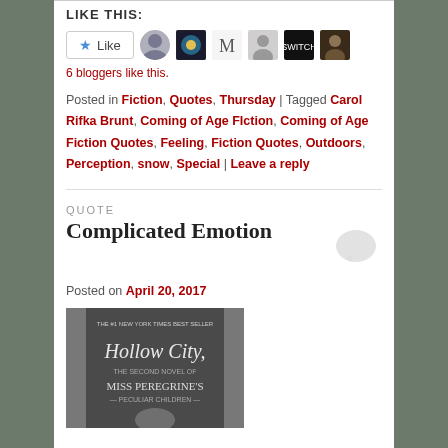LIKE THIS:
[Figure (screenshot): Like button with star icon and 6 blogger avatar thumbnails]
6 bloggers like this.
Posted in Fiction, Quotes, Thursday | Tagged Carol Rifka Brunt, Coming of Age FIction, Coming of Age Fiction Quotes, Feeling, Fiction Quotes, Outdoors, Perception, snow, Special | Leave a reply
QUOTE
Complicated Emotion
Posted on April 20, 2017
[Figure (photo): Book cover of Hollow City: The Second Novel of Miss Peregrine's Peculiar Children - black and white cover showing a child]